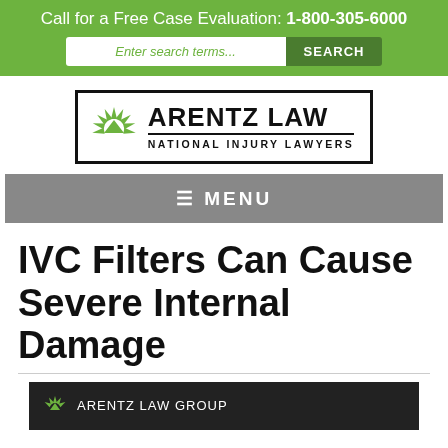Call for a Free Case Evaluation: 1-800-305-6000
[Figure (logo): Arentz Law National Injury Lawyers logo with green sunburst icon and black text in a bordered box]
☰ MENU
IVC Filters Can Cause Severe Internal Damage
[Figure (screenshot): Arentz Law Group banner image at bottom of page]